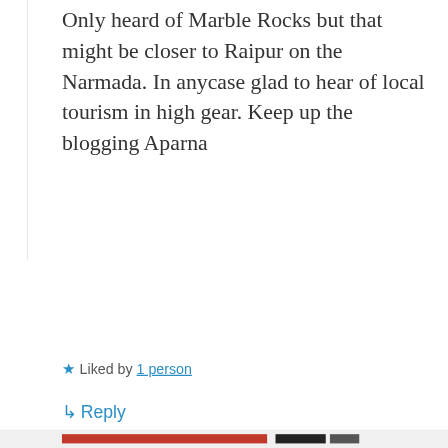Only heard of Marble Rocks but that might be closer to Raipur on the Narmada. In anycase glad to hear of local tourism in high gear. Keep up the blogging Aparna
★ Liked by 1 person
↳ Reply
Privacy & Cookies: This site uses cookies. By continuing to use this website, you agree to their use.
To find out more, including how to control cookies, see here:
Cookie Policy
Close and accept